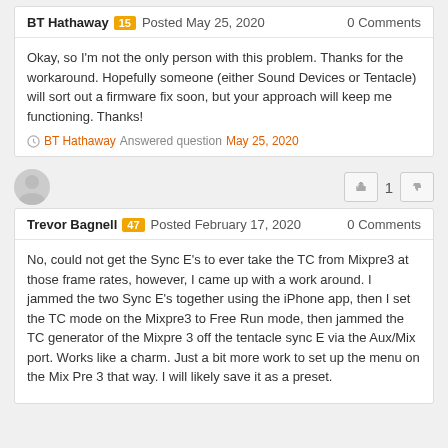BT Hathaway 15 Posted May 25, 2020 — 0 Comments
Okay, so I'm not the only person with this problem. Thanks for the workaround. Hopefully someone (either Sound Devices or Tentacle) will sort out a firmware fix soon, but your approach will keep me functioning. Thanks!
BT Hathaway Answered question May 25, 2020
[Figure (illustration): User avatar placeholder icon (gray silhouette)]
Trevor Bagnell 47 Posted February 17, 2020 — 0 Comments
No, could not get the Sync E's to ever take the TC from Mixpre3 at those frame rates, however, I came up with a work around. I jammed the two Sync E's together using the iPhone app, then I set the TC mode on the Mixpre3 to Free Run mode, then jammed the TC generator of the Mixpre 3 off the tentacle sync E via the Aux/Mix port. Works like a charm. Just a bit more work to set up the menu on the Mix Pre 3 that way. I will likely save it as a preset.